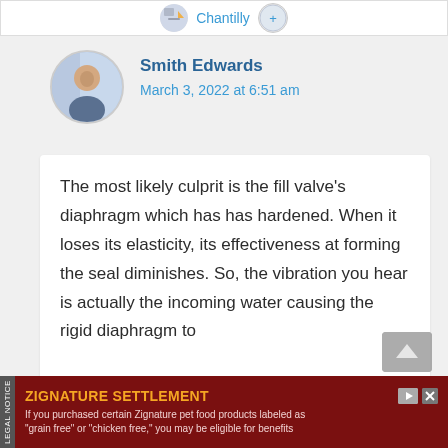Chantilly
Smith Edwards
March 3, 2022 at 6:51 am
The most likely culprit is the fill valve's diaphragm which has has hardened. When it loses its elasticity, its effectiveness at forming the seal diminishes. So, the vibration you hear is actually the incoming water causing the rigid diaphragm to bounce around inside the fill valve
LEGAL NOTICE ZIGNATURE SETTLEMENT If you purchased certain Zignature pet food products labeled as "grain free" or "chicken free," you may be eligible for benefits